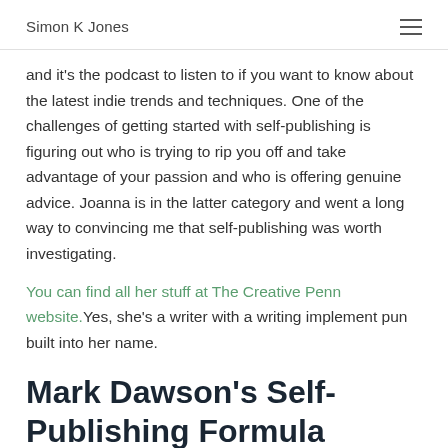Simon K Jones
and it's the podcast to listen to if you want to know about the latest indie trends and techniques. One of the challenges of getting started with self-publishing is figuring out who is trying to rip you off and take advantage of your passion and who is offering genuine advice. Joanna is in the latter category and went a long way to convincing me that self-publishing was worth investigating.
You can find all her stuff at The Creative Penn website. Yes, she's a writer with a writing implement pun built into her name.
Mark Dawson's Self-Publishing Formula